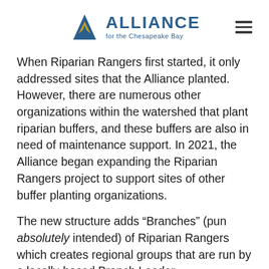[Figure (logo): Alliance for the Chesapeake Bay logo — blue mountain/wave triangle icon with gold accent, bold blue 'ALLIANCE' text and subtitle 'for the Chesapeake Bay']
When Riparian Rangers first started, it only addressed sites that the Alliance planted. However, there are numerous other organizations within the watershed that plant riparian buffers, and these buffers are also in need of maintenance support. In 2021, the Alliance began expanding the Riparian Rangers project to support sites of other buffer planting organizations.
The new structure adds "Branches" (pun absolutely intended) of Riparian Rangers which creates regional groups that are run by a locally-based Branch Leader.